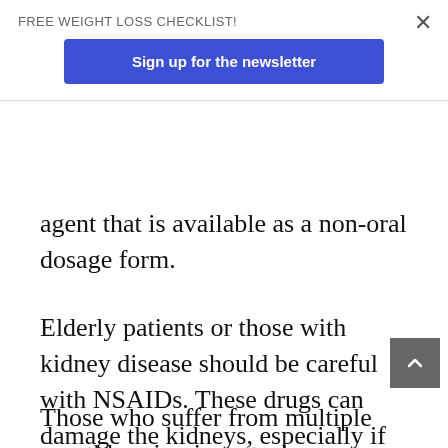FREE WEIGHT LOSS CHECKLIST!
Sign up for the newsletter
agent that is available as a non-oral dosage form.
Elderly patients or those with kidney disease should be careful with NSAIDs. These drugs can damage the kidneys, especially if taken over a long period.
Those who suffer from multiple monthly migraine attacks may want to consider